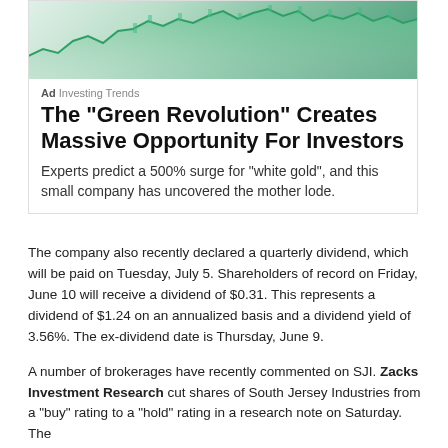[Figure (other): Green financial chart with upward trending area chart in green tones, used as advertisement image for an investing article.]
Ad  Investing Trends
The "Green Revolution" Creates Massive Opportunity For Investors
Experts predict a 500% surge for "white gold", and this small company has uncovered the mother lode.
The company also recently declared a quarterly dividend, which will be paid on Tuesday, July 5. Shareholders of record on Friday, June 10 will receive a dividend of $0.31. This represents a dividend of $1.24 on an annualized basis and a dividend yield of 3.56%. The ex-dividend date is Thursday, June 9.
A number of brokerages have recently commented on SJI. Zacks Investment Research cut shares of South Jersey Industries from a "buy" rating to a "hold" rating in a research note on Saturday. The